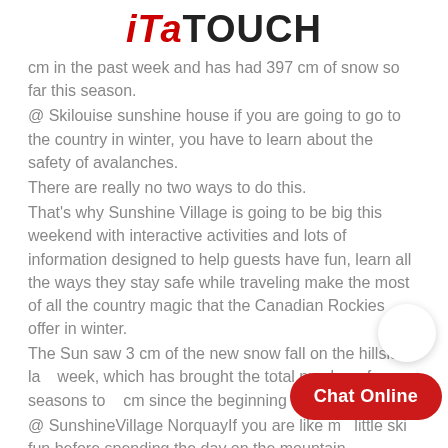ITATOUCH
cm in the past week and has had 397 cm of snow so far this season.
@ Skilouise sunshine house if you are going to go to the country in winter, you have to learn about the safety of avalanches.
There are really no two ways to do this.
That's why Sunshine Village is going to be big this weekend with interactive activities and lots of information designed to help guests have fun, learn all the ways they stay safe while traveling make the most of all the country magic that the Canadian Rockies offer in winter.
The Sun saw 3 cm of the new snow fall on the hillside last week, which has brought the total number of seasons to 2 cm since the beginning of the season.
@ SunshineVillage NorquayIf you are like me little ski fun before spending the day on the mountain.